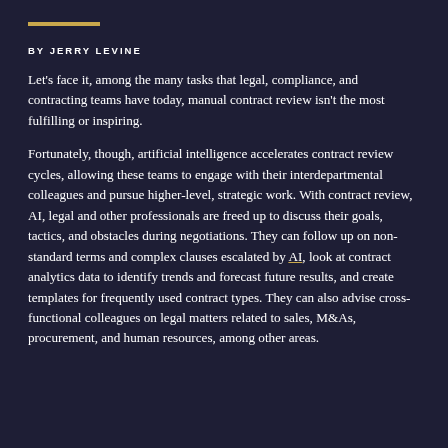BY JERRY LEVINE
Let's face it, among the many tasks that legal, compliance, and contracting teams have today, manual contract review isn't the most fulfilling or inspiring.
Fortunately, though, artificial intelligence accelerates contract review cycles, allowing these teams to engage with their interdepartmental colleagues and pursue higher-level, strategic work. With contract review, AI, legal and other professionals are freed up to discuss their goals, tactics, and obstacles during negotiations. They can follow up on non-standard terms and complex clauses escalated by AI, look at contract analytics data to identify trends and forecast future results, and create templates for frequently used contract types. They can also advise cross-functional colleagues on legal matters related to sales, M&As, procurement, and human resources, among other areas.